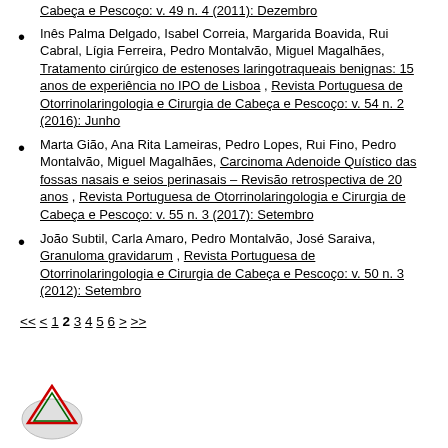Inês Palma Delgado, Isabel Correia, Margarida Boavida, Rui Cabral, Lígia Ferreira, Pedro Montalvão, Miguel Magalhães, Tratamento cirúrgico de estenoses laringotraqueais benignas: 15 anos de experiência no IPO de Lisboa , Revista Portuguesa de Otorrinolaringologia e Cirurgia de Cabeça e Pescoço: v. 54 n. 2 (2016): Junho
Marta Gião, Ana Rita Lameiras, Pedro Lopes, Rui Fino, Pedro Montalvão, Miguel Magalhães, Carcinoma Adenoide Quístico das fossas nasais e seios perinasais – Revisão retrospectiva de 20 anos , Revista Portuguesa de Otorrinolaringologia e Cirurgia de Cabeça e Pescoço: v. 55 n. 3 (2017): Setembro
João Subtil, Carla Amaro, Pedro Montalvão, José Saraiva, Granuloma gravidarum , Revista Portuguesa de Otorrinolaringologia e Cirurgia de Cabeça e Pescoço: v. 50 n. 3 (2012): Setembro
<< < 1 2 3 4 5 6 > >>